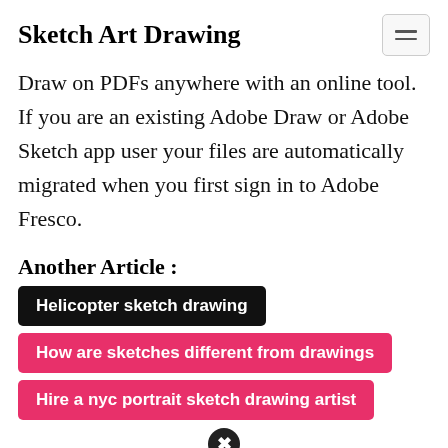Sketch Art Drawing
Draw on PDFs anywhere with an online tool. If you are an existing Adobe Draw or Adobe Sketch app user your files are automatically migrated when you first sign in to Adobe Fresco.
Another Article :
Helicopter sketch drawing
How are sketches different from drawings
Hire a nyc portrait sketch drawing artist